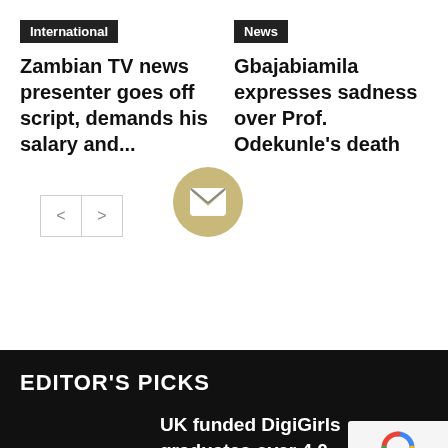International
Zambian TV news presenter goes off script, demands his salary and...
News
Gbajabiamila expresses sadness over Prof. Odekunle's death
[Figure (infographic): Navigation left/right arrow buttons and an email newsletter subscription icon (circle with envelope)]
EDITOR'S PICKS
UK funded DigiGirls graduates over 4,0 women with digital skills
[Figure (logo): Google reCAPTCHA badge with Privacy and Terms text]